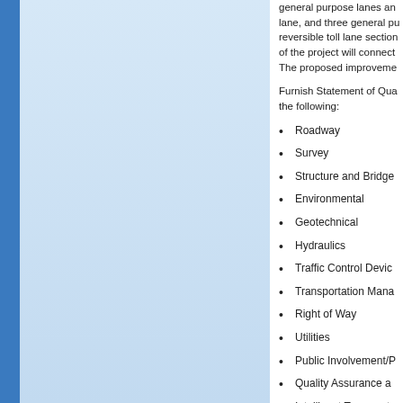[Figure (illustration): Left blue decorative stripe and light blue panel background]
general purpose lanes and lane, and three general pu reversible toll lane section of the project will connect The proposed improveme
Furnish Statement of Qua the following:
Roadway
Survey
Structure and Bridge
Environmental
Geotechnical
Hydraulics
Traffic Control Device
Transportation Mana
Right of Way
Utilities
Public Involvement/P
Quality Assurance a
Intelligent Transporta
Signage and Lightin
Construction T...